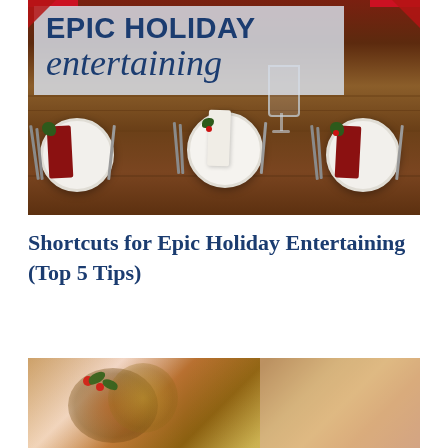[Figure (photo): Overhead view of a holiday dinner table setting with white plates, red napkins with greenery, silverware on dark wood, with 'EPIC HOLIDAY entertaining' text overlay on a semi-transparent blue-gray box]
Shortcuts for Epic Holiday Entertaining (Top 5 Tips)
[Figure (photo): Partially visible photo of holiday food or wreath with gold, red and green colors, cropped at bottom of page]